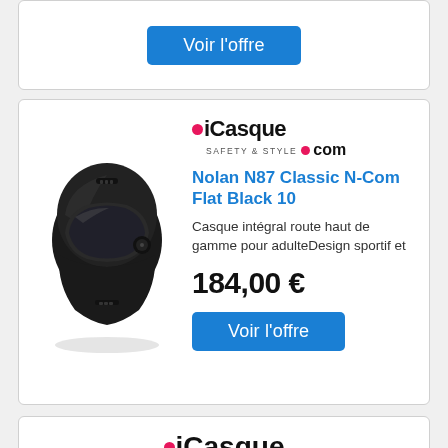[Figure (other): Blue 'Voir l'offre' button in a white card (partially visible at top)]
[Figure (photo): Black full-face motorcycle helmet (Nolan N87) on white background]
[Figure (logo): iCasque SAFETY & STYLE .com logo with pink dot]
Nolan N87 Classic N-Com Flat Black 10
Casque intégral route haut de gamme pour adulteDesign sportif et
184,00 €
[Figure (other): Blue 'Voir l'offre' button]
[Figure (logo): iCasque logo (partially visible at bottom)]